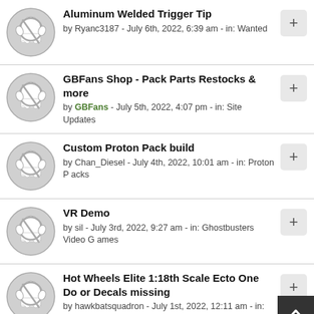Aluminum Welded Trigger Tip by Ryanc3187 - July 6th, 2022, 6:39 am - in: Wanted
GBFans Shop - Pack Parts Restocks & more by GBFans - July 5th, 2022, 4:07 pm - in: Site Updates
Custom Proton Pack build by Chan_Diesel - July 4th, 2022, 10:01 am - in: Proton Packs
VR Demo by sil - July 3rd, 2022, 9:27 am - in: Ghostbusters Video Games
Hot Wheels Elite 1:18th Scale Ecto One Door Decals missing by hawkbatsquadron - July 1st, 2022, 12:11 am - in: Collectibles